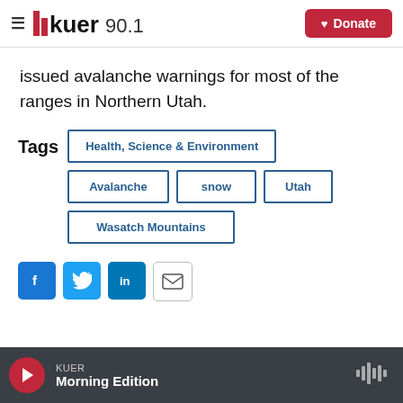KUER 90.1 — Donate
issued avalanche warnings for most of the ranges in Northern Utah.
Tags: Health, Science & Environment | Avalanche | snow | Utah | Wasatch Mountains
KUER — Morning Edition